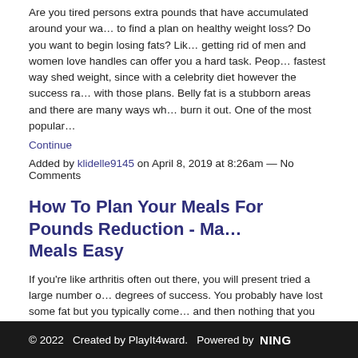Are you tired persons extra pounds that have accumulated around your wa… to find a plan on healthy weight loss? Do you want to begin losing fats? Lik… getting rid of men and women love handles can offer you a hard task. Peop… fastest way shed weight, since with a celebrity diet however the success ra… with those plans. Belly fat is a stubborn areas and there are many ways wh… burn it out. One of the most popular…
Continue
Added by klidelle9145 on April 8, 2019 at 8:26am — No Comments
How To Plan Your Meals For Pounds Reduction - Ma… Meals Easy
If you're like arthritis often out there, you will present tried a large number o… degrees of success. You probably have lost some fat but you typically come… and then nothing that you do can aid you shed more pounds. This plateau i… everyone and is typical amongst the many weight loss programs. You mere… plateau problem if require discover the right way to fool your metabolism.
The HCG hormone provides extensive to…
Continue
Added by klidelle9145 on April 8, 2019 at 8:23am — No Comments
© 2022   Created by PlayIt4ward.   Powered by NING